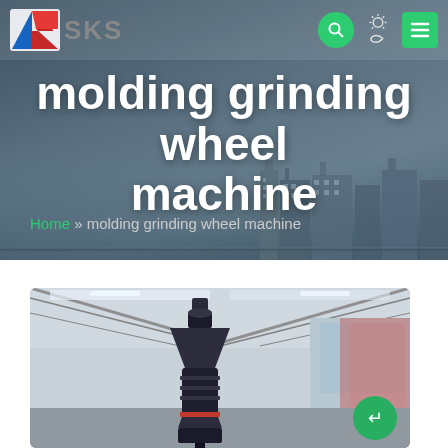[Figure (screenshot): SKS company logo — stylized 'S' in red and blue with text 'SKS' in grey]
molding grinding wheel machine
Home » molding grinding wheel machine
[Figure (photo): Industrial photo of a large grinding wheel machine inside a factory/warehouse with steel roof structure visible. The machine appears as a large cylindrical/conical dark unit. A green floating dark-mode button is overlaid on the lower right.]